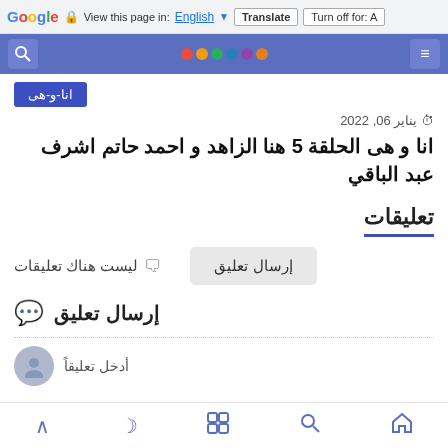Google  View this page in: English ▼  Translate  Turn off for: A
[Figure (screenshot): Mobile website top navigation bar with blue background, search icon, colorful beaded necklace logo image, and hamburger menu icon]
انا-و-هى
يناير 06, 2022
انا و هى الحلقة 5 هنا الزاهد و احمد حاتم اشرف عبد الباقي
تعليقات
ليست هناك تعليقات
إرسال تعليق
إرسال تعليق
أدخل تعليقاً
↑  ☾  ⊞  🔍  🏠